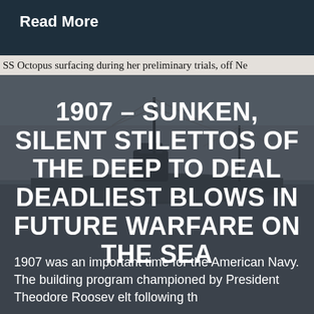Read More
SS Octopus surfacing during her preliminary trials, off Ne
[Figure (photo): Black and white photograph of a submarine (SS Octopus) surfacing at sea, with masts and rigging visible, overlaid with a dark gray tint.]
1907 – SUNKEN, SILENT STILETTOS OF THE DEEP TO DEAL DEADLIEST BLOWS IN FUTURE WARFARE ON THE SEA
1907 was an important time for the American Navy. The building program championed by President Theodore Roosevelt following th